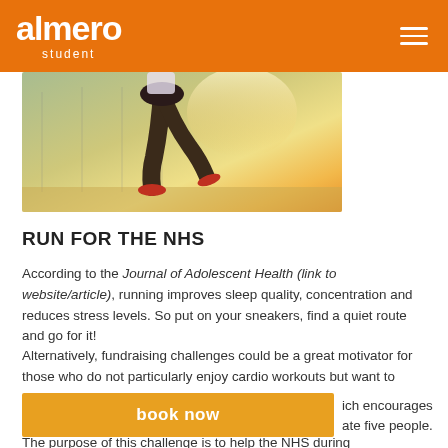almero student
[Figure (photo): Person running outdoors near a fence, warm sunlit background, view from waist down showing legs and running shoes]
RUN FOR THE NHS
According to the Journal of Adolescent Health (link to website/article), running improves sleep quality, concentration and reduces stress levels. So put on your sneakers, find a quiet route and go for it!
Alternatively, fundraising challenges could be a great motivator for those who do not particularly enjoy cardio workouts but want to contribute to a cause. 'Running [for the NHS]' which encourages [participan]te five people. The purpose of this challenge is to help the NHS during
book now